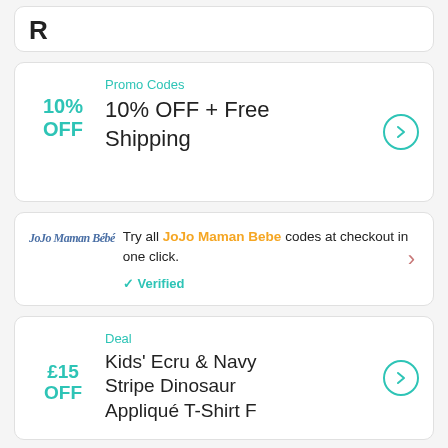[Figure (other): Top card partially visible with letter R shown]
Promo Codes
10% OFF + Free Shipping
Try all JoJo Maman Bebe codes at checkout in one click.
Verified
Deal
Kids' Ecru & Navy Stripe Dinosaur Appliqué T-Shirt F...
£15 OFF